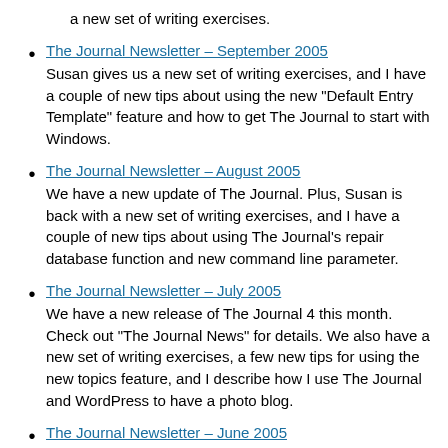a new set of writing exercises.
The Journal Newsletter – September 2005
Susan gives us a new set of writing exercises, and I have a couple of new tips about using the new "Default Entry Template" feature and how to get The Journal to start with Windows.
The Journal Newsletter – August 2005
We have a new update of The Journal. Plus, Susan is back with a new set of writing exercises, and I have a couple of new tips about using The Journal's repair database function and new command line parameter.
The Journal Newsletter – July 2005
We have a new release of The Journal 4 this month. Check out "The Journal News" for details. We also have a new set of writing exercises, a few new tips for using the new topics feature, and I describe how I use The Journal and WordPress to have a photo blog.
The Journal Newsletter – June 2005